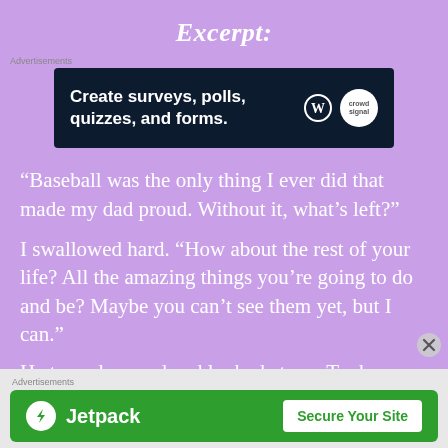Excerpt:
[Figure (screenshot): Advertisement banner: dark navy background with text 'Create surveys, polls, quizzes, and forms.' with WordPress and Crowdsignal logos]
“Baseball was the only thing I ever did that made my dad proud. Without it, what’s left?”
I swallowed hard. “How about the rest of your life? All the amazing things you’re going to do and be? Maybe you can’t see them yet, but I can.”
He turned around and looked at me. Took my
[Figure (screenshot): Advertisement banner: green background with Jetpack logo and 'Secure Your Site' button]